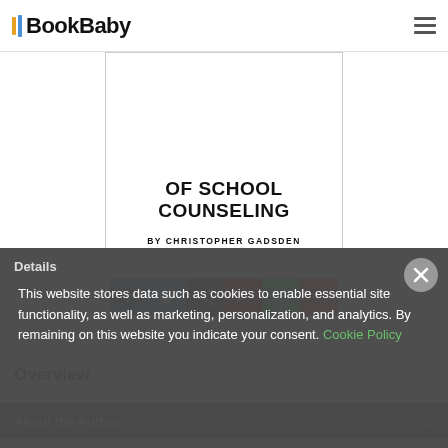BookBaby
[Figure (illustration): Book cover showing 'OF SCHOOL COUNSELING BY CHRISTOPHER GADSDEN']
[Figure (infographic): Social sharing buttons: Facebook, Twitter, Email/Share, Pinterest, WhatsApp, More (+)]
Overview
This website stores data such as cookies to enable essential site functionality, as well as marketing, personalization, and analytics. By remaining on this website you indicate your consent. Cookie Policy